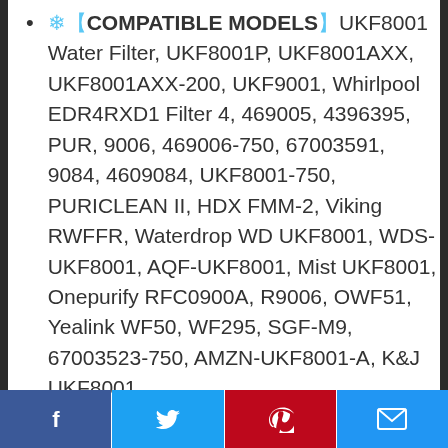❄️【COMPATIBLE MODELS】UKF8001 Water Filter, UKF8001P, UKF8001AXX, UKF8001AXX-200, UKF9001, Whirlpool EDR4RXD1 Filter 4, 469005, 4396395, PUR, 9006, 469006-750, 67003591, 9084, 4609084, UKF8001-750, PURICLEAN II, HDX FMM-2, Viking RWFFR, Waterdrop WD UKF8001, WDS-UKF8001, AQF-UKF8001, Mist UKF8001, Onepurify RFC0900A, R9006, OWF51, Yealink WF50, WF295, SGF-M9, 67003523-750, AMZN-UKF8001-A, K&J UKF8001,
Facebook | Twitter | Pinterest | Email